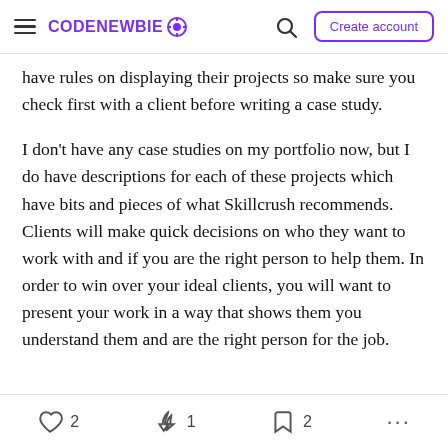CodeNewbie — Create account
have rules on displaying their projects so make sure you check first with a client before writing a case study.
I don't have any case studies on my portfolio now, but I do have descriptions for each of these projects which have bits and pieces of what Skillcrush recommends. Clients will make quick decisions on who they want to work with and if you are the right person to help them. In order to win over your ideal clients, you will want to present your work in a way that shows them you understand them and are the right person for the job.
❤ 2   🔥 1   🔖 2   ...